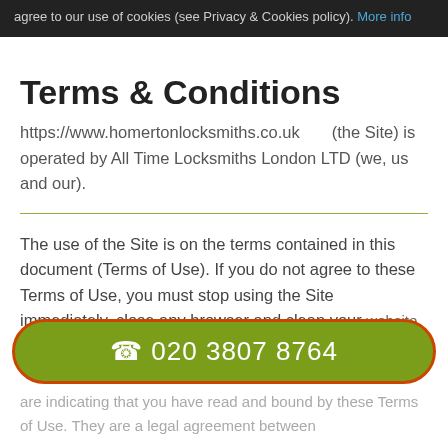agree to our use of cookies (see Privacy & Cookies policy). More info
Terms & Conditions
https://www.homertonlocksmiths.co.uk (the Site) is operated by All Time Locksmiths London LTD (we, us and our).
The use of the Site is on the terms contained in this document (Terms of Use). If you do not agree to these Terms of Use, you must stop using the Site immediately, close any browser and clean your website history. By continuing to browse this Site are indicating that you have read and bound by these Terms of Use. They are a legal agreement between
☎ 020 3807 8764